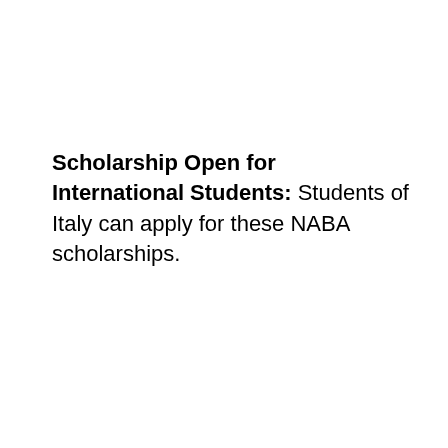Scholarship Open for International Students: Students of Italy can apply for these NABA scholarships.